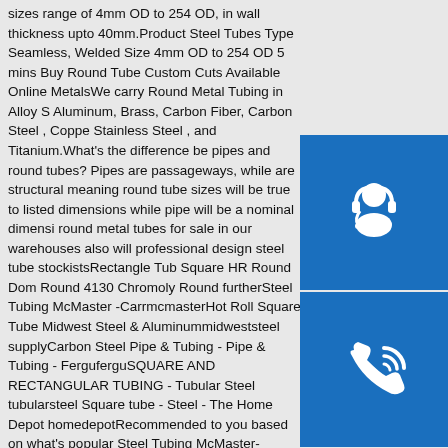sizes range of 4mm OD to 254 OD, in wall thickness upto 40mm.Product Steel Tubes Type Seamless, Welded Size 4mm OD to 254 OD 5 mins Buy Round Tube Custom Cuts Available Online MetalsWe carry Round Metal Tubing in Alloy S Aluminum, Brass, Carbon Fiber, Carbon Steel , Coppe Stainless Steel , and Titanium.What's the difference be pipes and round tubes? Pipes are passageways, while are structural meaning round tube sizes will be true to listed dimensions while pipe will be a nominal dimensi round metal tubes for sale in our warehouses also will professional design steel tube stockistsRectangle Tub Square HR Round Dom Round 4130 Chromoly Round furtherSteel Tubing McMaster -CarrmcmasterHot Roll Square Tube Midwest Steel & Aluminummidweststeel supplyCarbon Steel Pipe & Tubing - Pipe & Tubing - FerguferguSQUARE AND RECTANGULAR TUBING - Tubular Steel tubularsteel Square tube - Steel - The Home Depot homedepotRecommended to you based on what's popular Steel Tubing McMaster-CarrUltra-Strength Carbon Steel (AHSS) Round Tubes. The same steel used in automobile
[Figure (illustration): Three blue icon boxes stacked vertically on the right side: 1) headset/customer support icon, 2) phone/call icon, 3) Skype icon]